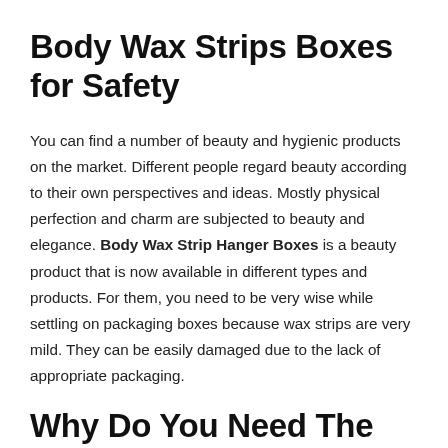Body Wax Strips Boxes for Safety
You can find a number of beauty and hygienic products on the market. Different people regard beauty according to their own perspectives and ideas. Mostly physical perfection and charm are subjected to beauty and elegance. Body Wax Strip Hanger Boxes is a beauty product that is now available in different types and products. For them, you need to be very wise while settling on packaging boxes because wax strips are very mild. They can be easily damaged due to the lack of appropriate packaging.
Why Do You Need The Best Packaging For Body Wax Strips?